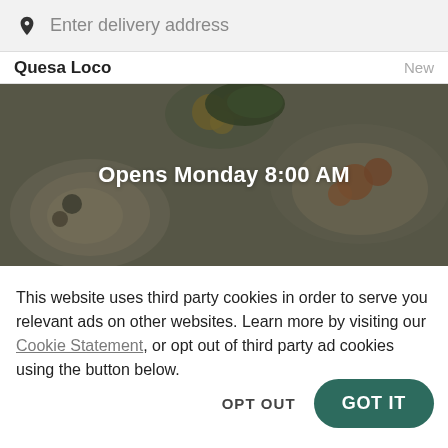Enter delivery address
Quesa Loco	NEW
[Figure (photo): Overhead view of food dishes with overlay text 'Opens Monday 8:00 AM']
This website uses third party cookies in order to serve you relevant ads on other websites. Learn more by visiting our Cookie Statement, or opt out of third party ad cookies using the button below.
OPT OUT
GOT IT